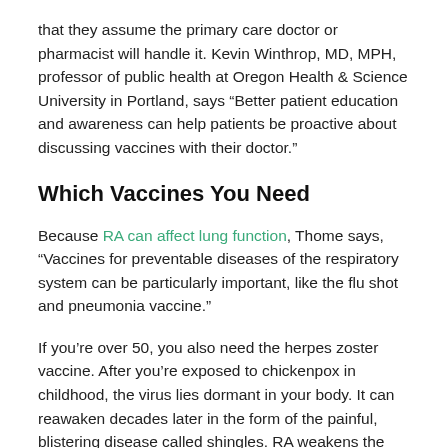that they assume the primary care doctor or pharmacist will handle it. Kevin Winthrop, MD, MPH, professor of public health at Oregon Health & Science University in Portland, says “Better patient education and awareness can help patients be proactive about discussing vaccines with their doctor.”
Which Vaccines You Need
Because RA can affect lung function, Thome says, “Vaccines for preventable diseases of the respiratory system can be particularly important, like the flu shot and pneumonia vaccine.”
If you’re over 50, you also need the herpes zoster vaccine. After you’re exposed to chickenpox in childhood, the virus lies dormant in your body. It can reawaken decades later in the form of the painful, blistering disease called shingles. RA weakens the immune system, making it easier for the virus to reactivate. Anti-TNF drugs like infliximab (Remicade) and etanercept (Enbrel) can significantly increase your risk of